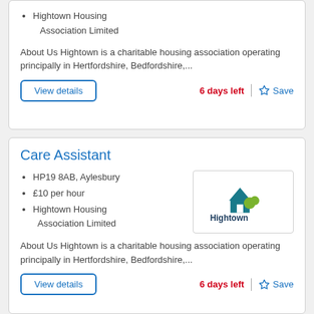Hightown Housing Association Limited
About Us Hightown is a charitable housing association operating principally in Hertfordshire, Bedfordshire,...
View details | 6 days left | Save
Care Assistant
HP19 8AB, Aylesbury
£10 per hour
Hightown Housing Association Limited
[Figure (logo): Hightown Housing Association logo with house icon and text 'Hightown']
About Us Hightown is a charitable housing association operating principally in Hertfordshire, Bedfordshire,...
View details | 6 days left | Save